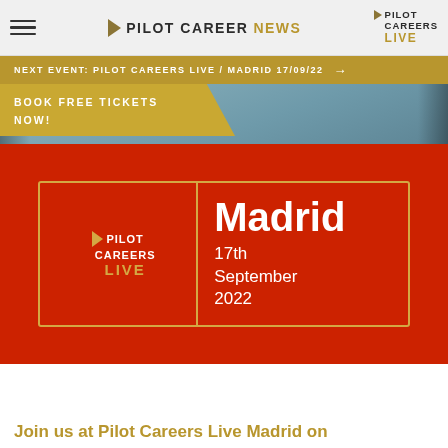PILOT CAREER NEWS | PILOT CAREERS LIVE
NEXT EVENT: PILOT CAREERS LIVE / MADRID 17/09/22 →
BOOK FREE TICKETS NOW!
[Figure (infographic): Pilot Careers Live Madrid event card on red background. Shows Pilot Careers Live logo on left side and event details on right: Madrid, 17th September 2022]
Join us at Pilot Careers Live Madrid on